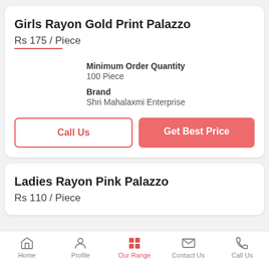Girls Rayon Gold Print Palazzo
Rs 175 / Piece
Minimum Order Quantity
100 Piece
Brand
Shri Mahalaxmi Enterprise
Call Us
Get Best Price
Ladies Rayon Pink Palazzo
Rs 110 / Piece
Home  Profile  Our Range  Contact Us  Call Us